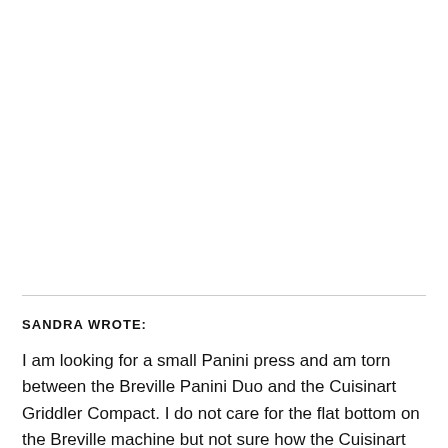SANDRA WROTE:
I am looking for a small Panini press and am torn between the Breville Panini Duo and the Cuisinart Griddler Compact. I do not care for the flat bottom on the Breville machine but not sure how the Cuisinart